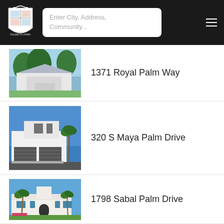Palmetto Park Realty - Enter City, Address, Community...
1371 Royal Palm Way
320 S Maya Palm Drive
1798 Sabal Palm Drive